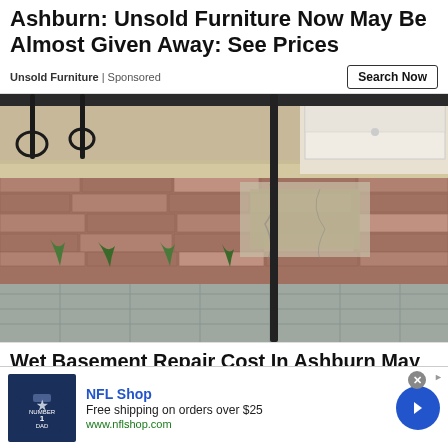Ashburn: Unsold Furniture Now May Be Almost Given Away: See Prices
Unsold Furniture | Sponsored
Search Now
[Figure (photo): Photo of a deteriorating stone masonry wall or planter box with brick veneer peeling away, weeds growing at the base, set on a paved walkway. Wrought iron railing visible at top.]
Wet Basement Repair Cost In Ashburn May
NFL Shop
Free shipping on orders over $25
www.nflshop.com